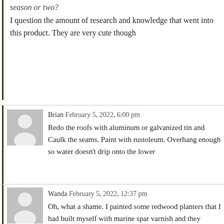season or two?
I question the amount of research and knowledge that went into this product. They are very cute though
Brian February 5, 2022, 6:00 pm
Redo the roofs with aluminum or galvanized tin and Caulk the seams. Paint with rustoleum. Overhang enough so water doesn't drip onto the lower areas.
Wanda February 5, 2022, 12:37 pm
Oh, what a shame. I painted some redwood planters that I had built myself with marine spar varnish and they